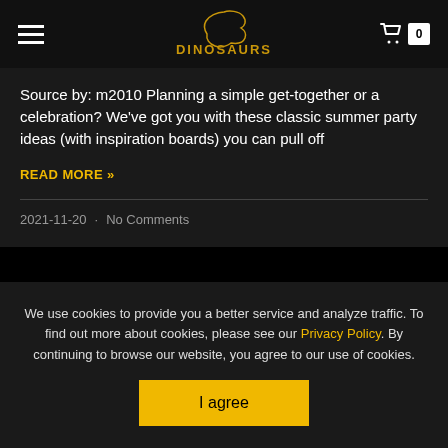DINOSAURS [logo] | cart 0
Source by: m2010 Planning a simple get-together or a celebration? We've got you with these classic summer party ideas (with inspiration boards) you can pull off
READ MORE »
2021-11-20 · No Comments
We use cookies to provide you a better service and analyze traffic. To find out more about cookies, please see our Privacy Policy. By continuing to browse our website, you agree to our use of cookies.
I agree